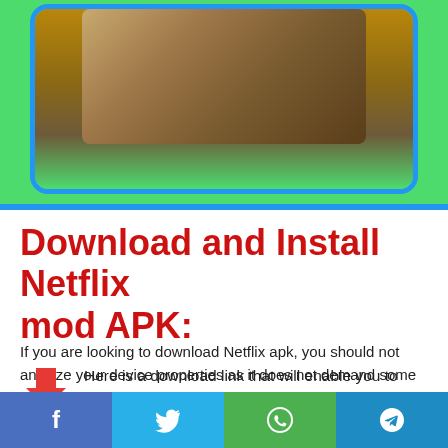[Figure (photo): Person lying down, cropped image visible inside a green rounded rectangle with blue border]
Download and Install Netflix mod APK:
If you are looking to download Netflix apk, you should not analyze your device properties as it does not demand some specific requirements. But if your device has the latest android version, it would be better than all.
Here is a download link that will enable you to take the first step in this process.